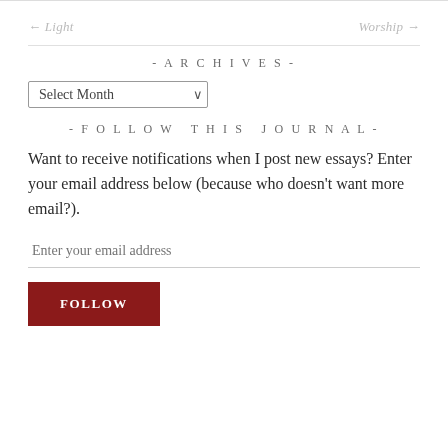← Light    Worship →
- ARCHIVES -
Select Month (dropdown)
- FOLLOW THIS JOURNAL -
Want to receive notifications when I post new essays? Enter your email address below (because who doesn't want more email?).
Enter your email address
FOLLOW